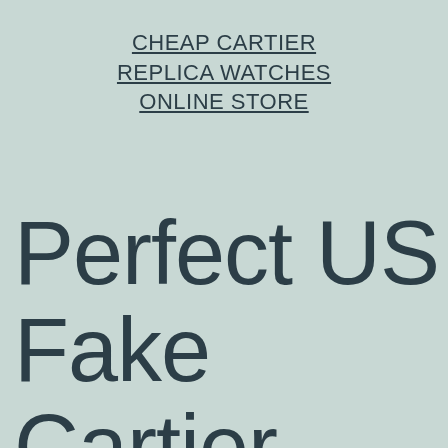CHEAP CARTIER REPLICA WATCHES ONLINE STORE
Perfect US Fake Cartier Watches Crea to A